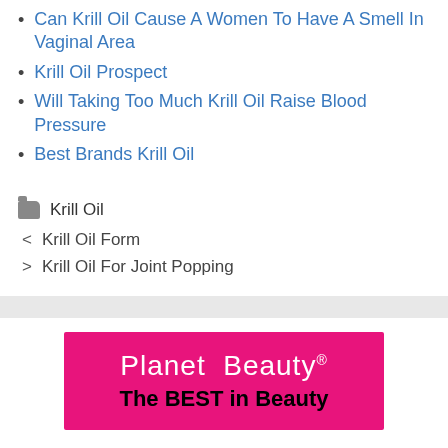Can Krill Oil Cause A Women To Have A Smell In Vaginal Area
Krill Oil Prospect
Will Taking Too Much Krill Oil Raise Blood Pressure
Best Brands Krill Oil
Krill Oil
< Krill Oil Form
> Krill Oil For Joint Popping
[Figure (logo): Planet Beauty logo - pink/magenta background with white text 'Planet Beauty' and black text 'The BEST in Beauty']